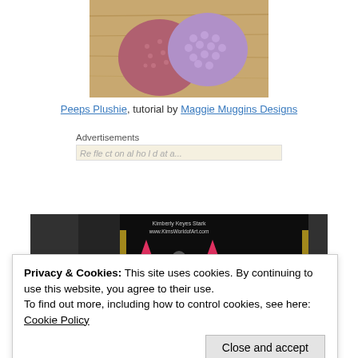[Figure (photo): Two stuffed plushie toys – one dark pink/mauve with polka dots and one lavender/purple with bumpy texture – resting on a wooden surface.]
Peeps Plushie, tutorial by Maggie Muggins Designs
Advertisements
[Figure (photo): A dark image showing a cartoon or artwork with devil/creature figures with pink horns, watermarked with 'Kimberly Keyes Stark www.KimsWorldofArt.com']
Privacy & Cookies: This site uses cookies. By continuing to use this website, you agree to their use.
To find out more, including how to control cookies, see here: Cookie Policy